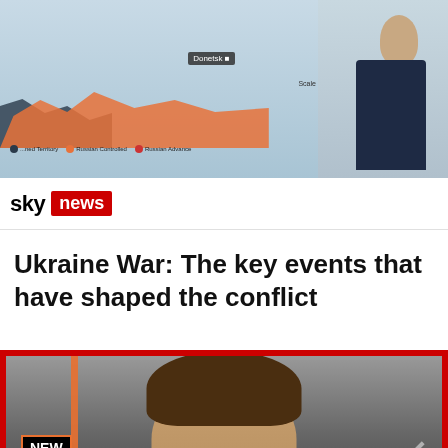[Figure (screenshot): Sky News television segment showing a map of Ukraine with orange and dark regions indicating Russian-controlled territory and Russian advance areas. A presenter stands to the right. Legend shows 'Russian Controlled' and other territory labels. Label 'Donetsk' visible on map.]
[Figure (logo): Sky News logo: 'sky' in black bold text followed by 'news' in white text on a red rectangle badge.]
Ukraine War: The key events that have shaped the conflict
[Figure (screenshot): CNN 'New Day' television screenshot showing a male news commentator with brown hair on a grey background. CNN logo visible at bottom left in red. 'NEW DAY' text in a black box with orange border. Diagonal white stripes on the right side.]